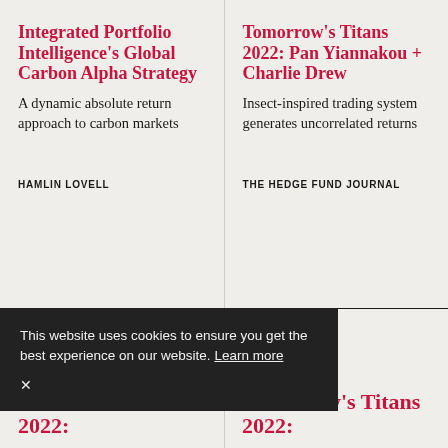Integrated Portfolio Intelligence's Global Carbon Alpha Strategy
A dynamic absolute return approach to carbon markets
HAMLIN LOVELL
Tomorrow's Titans 2022: Pan Yiannakou + Charlie Drew
Insect-inspired trading system generates uncorrelated returns
THE HEDGE FUND JOURNAL
This website uses cookies to ensure you get the best experience on our website. Learn more
Tomorrow's Titans 2022:
Tomorrow's Titans 2022: